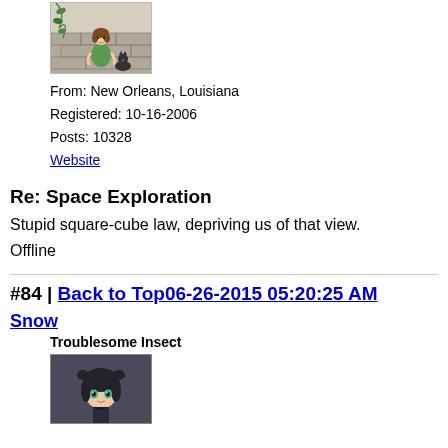[Figure (illustration): Anime-style avatar illustration of a girl in a green dress with a cat, in front of a stone wall]
From: New Orleans, Louisiana
Registered: 10-16-2006
Posts: 10328
Website
Re: Space Exploration
Stupid square-cube law, depriving us of that view.
Offline
#84 | Back to Top06-26-2015 05:20:25 AM
Snow
Troublesome Insect
[Figure (illustration): Anime-style avatar of a dark-haired girl with teal eyes]